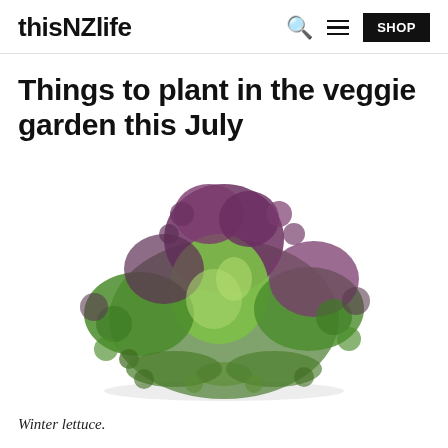thisNZlife
Things to plant in the veggie garden this July
[Figure (photo): A head of red/purple and green curly winter lettuce on a white background.]
Winter lettuce.